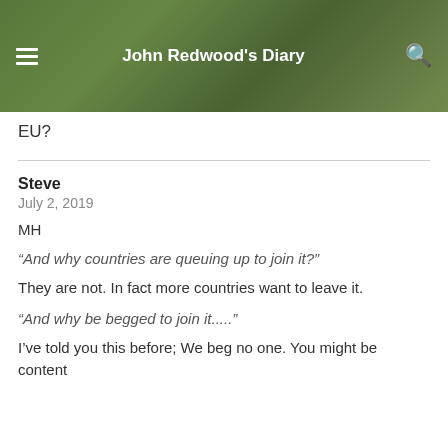John Redwood's Diary
EU?
Steve
July 2, 2019
MH
“And why countries are queuing up to join it?”
They are not. In fact more countries want to leave it.
“And why be begged to join it.....”
I’ve told you this before; We beg no one. You might be content